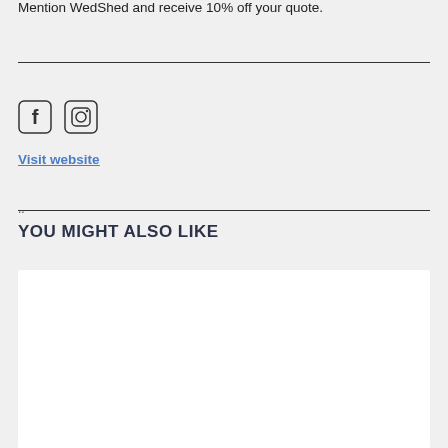Mention WedShed and receive 10% off your quote.
[Figure (logo): Facebook icon (rounded square with F logo) and Instagram icon (rounded square with camera logo)]
Visit website
..
YOU MIGHT ALSO LIKE
[Figure (photo): White rectangular card/image placeholder]